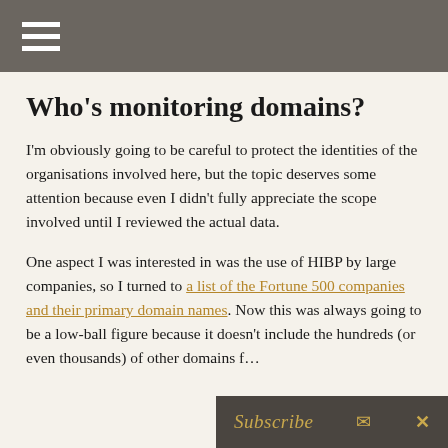☰
Who's monitoring domains?
I'm obviously going to be careful to protect the identities of the organisations involved here, but the topic deserves some attention because even I didn't fully appreciate the scope involved until I reviewed the actual data.
One aspect I was interested in was the use of HIBP by large companies, so I turned to a list of the Fortune 500 companies and their primary domain names. Now this was always going to be a low-ball figure because it doesn't include the hundreds (or even thousands) of other domains f…